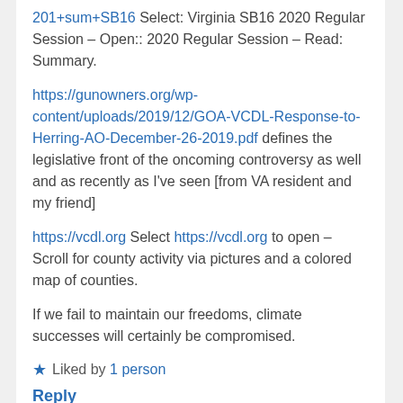201+sum+SB16 Select: Virginia SB16 2020 Regular Session – Open:: 2020 Regular Session – Read: Summary.
https://gunowners.org/wp-content/uploads/2019/12/GOA-VCDL-Response-to-Herring-AO-December-26-2019.pdf defines the legislative front of the oncoming controversy as well and as recently as I've seen [from VA resident and my friend]
https://vcdl.org Select https://vcdl.org to open – Scroll for county activity via pictures and a colored map of counties.
If we fail to maintain our freedoms, climate successes will certainly be compromised.
★ Liked by 1 person
Reply